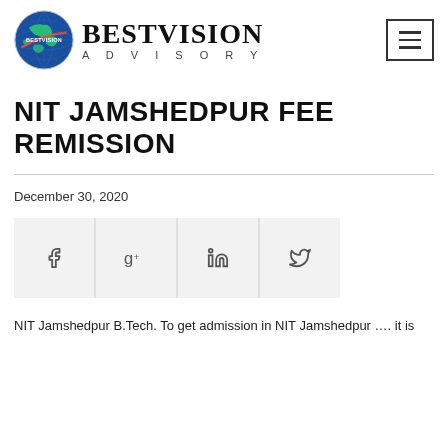[Figure (logo): BestVision Advisory logo with globe icon and text]
NIT JAMSHEDPUR FEE REMISSION
December 30, 2020
[Figure (infographic): Social share buttons: Facebook, Google+, LinkedIn, Twitter]
NIT Jamshedpur B.Tech. To get admission in NIT Jamshedpur …. it is